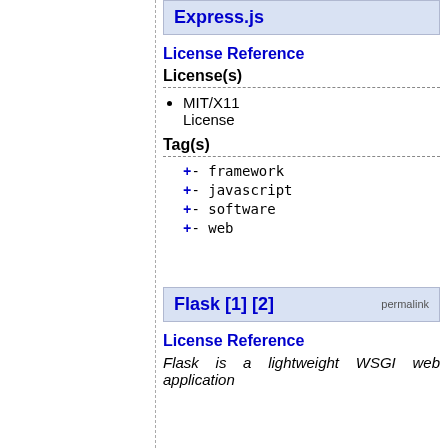Express.js
License Reference
License(s)
MIT/X11 License
Tag(s)
+- framework
+- javascript
+- software
+- web
Flask [1] [2]
License Reference
Flask is a lightweight WSGI web application